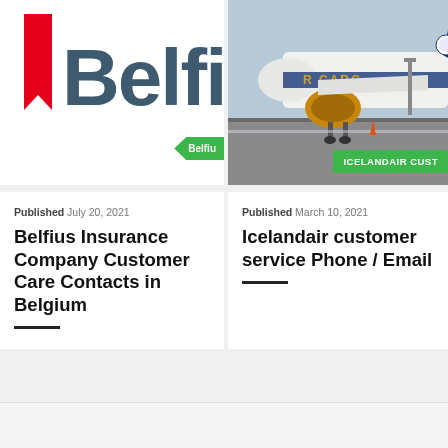[Figure (logo): Belfius logo — red bookmark shape on left with dark teal 'Belfiu' text (partially cropped)]
[Figure (photo): Icelandair cargo aircraft on airport tarmac in winter conditions, with 'ICELANDAIR CUST' green badge overlay]
Published July 20, 2021
Belfius Insurance Company Customer Care Contacts in Belgium
Published March 10, 2021
Icelandair customer service Phone / Email